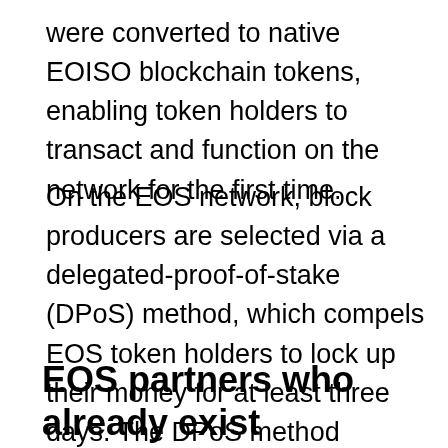were converted to native EOISO blockchain tokens, enabling token holders to transact and function on the network for the first time.
On the EOS network, block producers are selected via a delegated-proof-of-stake (DPoS) method, which compels EOS token holders to lock up their money for at least three days. The DPoS method provides for a lower entrance threshold, resulting in increased decentralization, reduced power consumption, and network scalability.
EOS partners who already exist